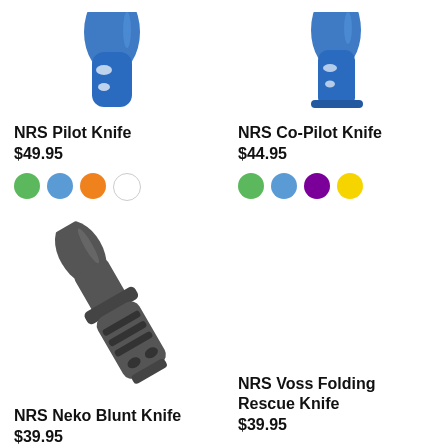[Figure (photo): NRS Pilot Knife product image, blue knife, cropped at top]
NRS Pilot Knife
$49.95
[Figure (illustration): Color swatches: green, blue, orange, white]
[Figure (photo): NRS Co-Pilot Knife product image, blue knife, cropped at top]
NRS Co-Pilot Knife
$44.95
[Figure (illustration): Color swatches: green, blue, purple, yellow]
[Figure (photo): NRS Neko Blunt Knife product image, dark grey knife]
NRS Neko Blunt Knife
$39.95
NRS Voss Folding Rescue Knife
$39.95